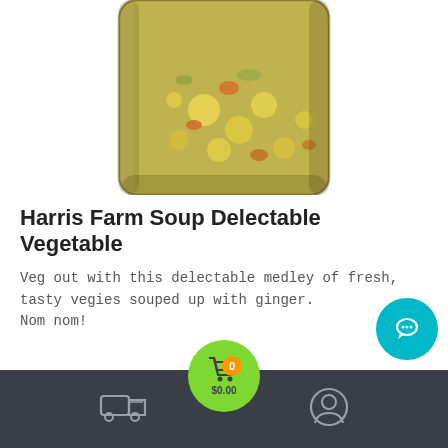[Figure (photo): Bottom portion of a glass jar containing vegetable soup with corn, carrots, and other vegetables visible through the glass, against a white background]
Harris Farm Soup Delectable Vegetable
Veg out with this delectable medley of fresh, tasty vegies souped up with ginger.
Nom nom!
[Figure (screenshot): Dark bottom navigation bar with a delivery truck icon on the left, a green circular cart button in the center showing $0.00 and badge 0, and a profile/user icon on the right. A teal chat bubble button appears in the lower right above the bar.]